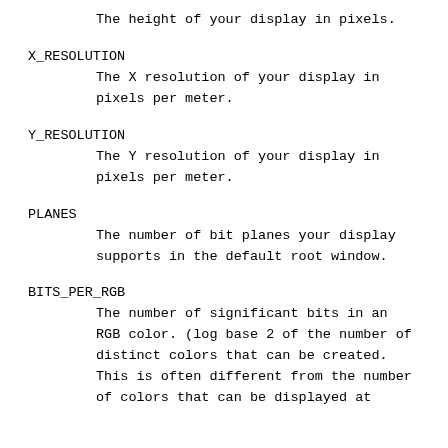The height of your display in pixels.
X_RESOLUTION
The X resolution of your display in pixels per meter.
Y_RESOLUTION
The Y resolution of your display in pixels per meter.
PLANES
The number of bit planes your display supports in the default root window.
BITS_PER_RGB
The number of significant bits in an RGB color. (log base 2 of the number of distinct colors that can be created. This is often different from the number of colors that can be displayed at